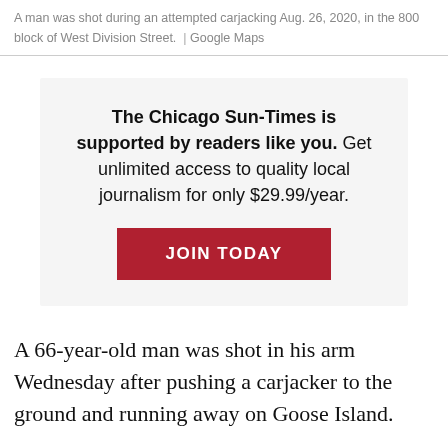A man was shot during an attempted carjacking Aug. 26, 2020, in the 800 block of West Division Street.  |  Google Maps
The Chicago Sun-Times is supported by readers like you. Get unlimited access to quality local journalism for only $29.99/year.
JOIN TODAY
A 66-year-old man was shot in his arm Wednesday after pushing a carjacker to the ground and running away on Goose Island.